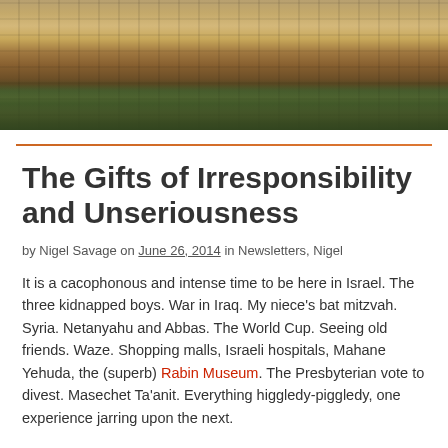[Figure (photo): Aerial/wide view of ancient stone fortress walls and towers in warm golden light, with trees on hillside below — Jerusalem Old City walls.]
The Gifts of Irresponsibility and Unseriousness
by Nigel Savage on June 26, 2014 in Newsletters, Nigel
It is a cacophonous and intense time to be here in Israel. The three kidnapped boys. War in Iraq. My niece's bat mitzvah. Syria. Netanyahu and Abbas. The World Cup. Seeing old friends. Waze. Shopping malls, Israeli hospitals, Mahane Yehuda, the (superb) Rabin Museum. The Presbyterian vote to divest. Masechet Ta'anit. Everything higgledy-piggledy, one experience jarring upon the next.